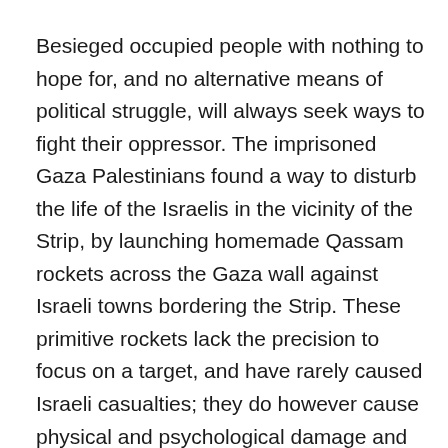Besieged occupied people with nothing to hope for, and no alternative means of political struggle, will always seek ways to fight their oppressor. The imprisoned Gaza Palestinians found a way to disturb the life of the Israelis in the vicinity of the Strip, by launching homemade Qassam rockets across the Gaza wall against Israeli towns bordering the Strip. These primitive rockets lack the precision to focus on a target, and have rarely caused Israeli casualties; they do however cause physical and psychological damage and seriously disturb life in the targeted Israeli neighborhoods. In the eyes of many Palestinians, the Qassams are a response to the war Israel has declared on them. As a